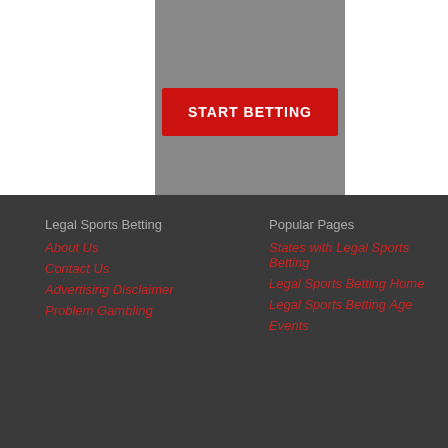[Figure (screenshot): Dark background image with a red 'START BETTING' button overlay]
Legal Sports Betting
About Us
Contact Us
Advertising Disclaimer
Problem Gambling
Popular Pages
States with Legal Sports Betting
Legal Sports Betting Home
Legal Sports Betting Age
Events